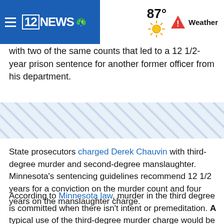12NEWS Weather 87°
with two of the same counts that led to a 12 1/2-year prison sentence for another former officer from his department.
[Figure (other): Hatched diagonal stripe divider band]
State prosecutors charged Derek Chauvin with third-degree murder and second-degree manslaughter. Minnesota's sentencing guidelines recommend 12 1/2 years for a conviction on the murder count and four years on the manslaughter charge.
According to Minnesota law, murder in the third degree is committed when there isn't intent or premeditation. A typical use of the third-degree murder charge would be used against a person who fired a gun in to a crowd or drove through a crowded sidewalk.